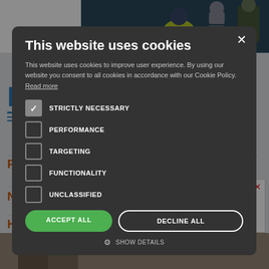[Figure (screenshot): Background website screenshot showing a news/education website with banner image, table rows with orange tags, and an advertisement box on the right side.]
This website uses cookies
This website uses cookies to improve user experience. By using our website you consent to all cookies in accordance with our Cookie Policy. Read more
STRICTLY NECESSARY (checked)
PERFORMANCE
TARGETING
FUNCTIONALITY
UNCLASSIFIED
ACCEPT ALL
DECLINE ALL
SHOW DETAILS